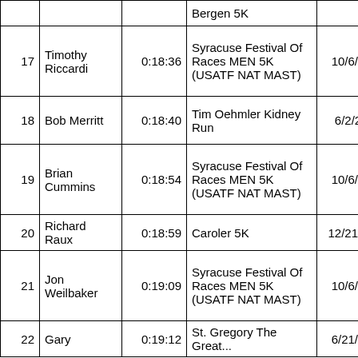| # | Name | Time | Race | Date | Col1 | Col2 |
| --- | --- | --- | --- | --- | --- | --- |
|  |  |  | Bergen 5K |  |  |  |
| 17 | Timothy Riccardi | 0:18:36 | Syracuse Festival Of Races MEN 5K (USATF NAT MAST) | 10/6/2013 | 85 | 85 |
| 18 | Bob Merritt | 0:18:40 | Tim Oehmler Kidney Run | 6/2/2013 | 2 | 2 |
| 19 | Brian Cummins | 0:18:54 | Syracuse Festival Of Races MEN 5K (USATF NAT MAST) | 10/6/2013 | 93 | 93 |
| 20 | Richard Raux | 0:18:59 | Caroler 5K | 12/21/2013 | 5 | 5 |
| 21 | Jon Weilbaker | 0:19:09 | Syracuse Festival Of Races MEN 5K (USATF NAT MAST) | 10/6/2013 | 97 | 97 |
| 22 | Gary | 0:19:12 | St. Gregory The Great... | 6/21/2013 | 57 | 54 |